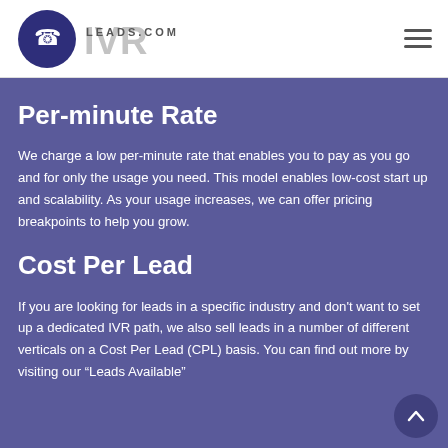IVR LEADS.COM
Per-minute Rate
We charge a low per-minute rate that enables you to pay as you go and for only the usage you need. This model enables low-cost start up and scalability. As your usage increases, we can offer pricing breakpoints to help you grow.
Cost Per Lead
If you are looking for leads in a specific industry and don't want to set up a dedicated IVR path, we also sell leads in a number of different verticals on a Cost Per Lead (CPL) basis. You can find out more by visiting our “Leads Available”